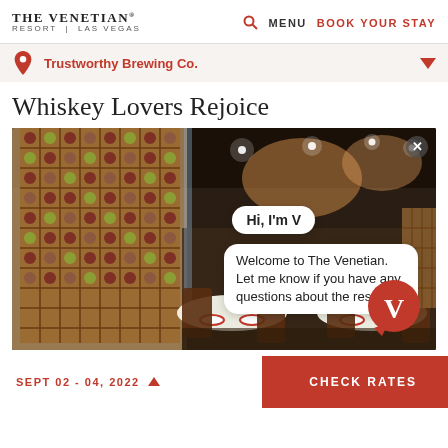THE VENETIAN RESORT | LAS VEGAS   MENU  BOOK YOUR STAY
Trustworthy Brewing Co.
Whiskey Lovers Rejoice
[Figure (photo): Interior of an upscale restaurant with floor-to-ceiling wine bottle shelving on the left, dark ceiling with spotlights, brown leather chairs, and white tablecloths. A chatbot dialog overlay shows 'Hi, I'm V' and 'Welcome to The Venetian. Let me know if you have any questions about the resort.' with a red V logo badge in the corner.]
SEPT 02 - 04, 2022   CHECK RATES